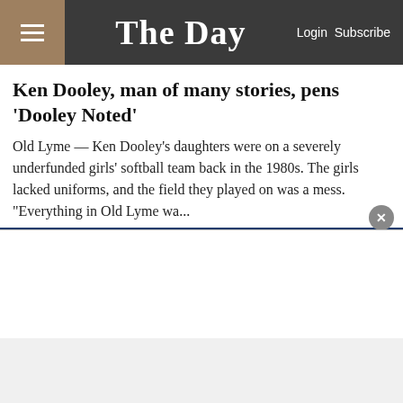The Day — Login Subscribe
Ken Dooley, man of many stories, pens 'Dooley Noted'
Old Lyme — Ken Dooley's daughters were on a severely underfunded girls' softball team back in the 1980s. The girls lacked uniforms, and the field they played on was a mess. "Everything in Old Lyme wa...
[Figure (photo): Two performers on a stage with dramatic blue stage lighting from above; a woman with red hair singing and a man behind her]